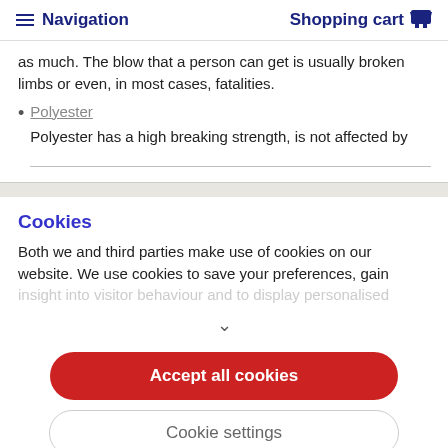Navigation  Shopping cart
as much. The blow that a person can get is usually broken limbs or even, in most cases, fatalities.
Polyester
Polyester has a high breaking strength, is not affected by
Cookies
Both we and third parties make use of cookies on our website. We use cookies to save your preferences, gain insight into visitor behaviour and to display personalised
Accept all cookies
Cookie settings